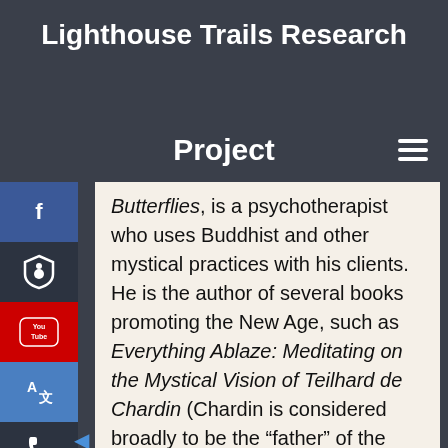Lighthouse Trails Research
Project
Butterflies, is a psychotherapist who uses Buddhist and other mystical practices with his clients. He is the author of several books promoting the New Age, such as Everything Ablaze: Meditating on the Mystical Vision of Teilhard de Chardin (Chardin is considered broadly to be the "father" of the New Age movement). Any Christian with even the least amount of biblical discernment would never favorably quote Richo